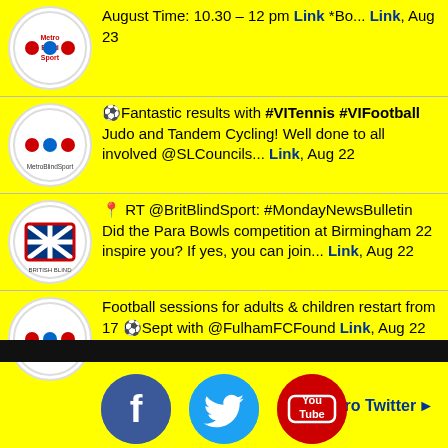August Time: 10.30 – 12 pm Link *Bo... Link, Aug 23
🎾 Fantastic results with #VITennis #VIFootball Judo and Tandem Cycling! Well done to all involved @SLCouncils... Link, Aug 22
📍 RT @BritBlindSport: #MondayNewsBulletin Did the Para Bowls competition at Birmingham 22 inspire you? If yes, you can join... Link, Aug 22
Football sessions for adults & children restart from 17 ⚽Sept with @FulhamFCFound Link, Aug 22
Metro Twitter ▶
[Figure (illustration): Facebook, Twitter, and YouTube social media icons]